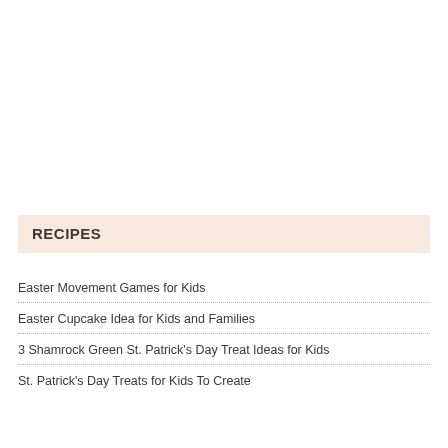RECIPES
Easter Movement Games for Kids
Easter Cupcake Idea for Kids and Families
3 Shamrock Green St. Patrick's Day Treat Ideas for Kids
St. Patrick's Day Treats for Kids To Create